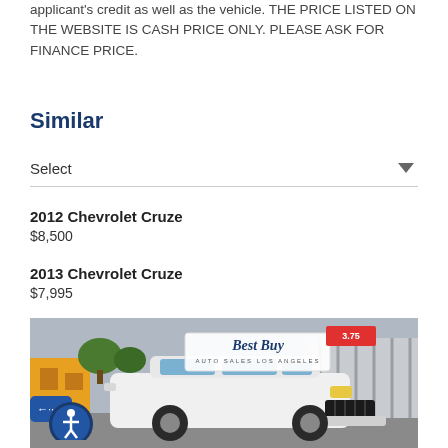applicant's credit as well as the vehicle. THE PRICE LISTED ON THE WEBSITE IS CASH PRICE ONLY. PLEASE ASK FOR FINANCE PRICE.
Similar
Select
2012 Chevrolet Cruze
$8,500
2013 Chevrolet Cruze
$7,995
[Figure (photo): White Jeep SUV at a Best Buy Auto Sales Los Angeles dealership lot. The vehicle is parked in front of a metal gate with other vehicles visible in the background. A Best Buy Auto Sales Los Angeles logo/sign is overlaid on the image.]